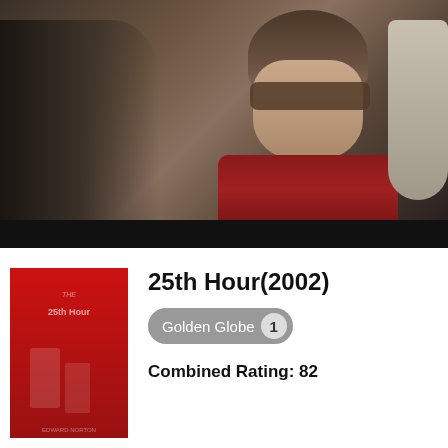[Figure (photo): Movie still from 25th Hour (2002) showing two men on a plane or train, one wearing sunglasses and a red jacket, viewed from the side]
[Figure (photo): Movie poster thumbnail for 25th Hour (2002) - red background with two figures]
25th Hour(2002)
Golden Globe 1
Combined Rating: 82